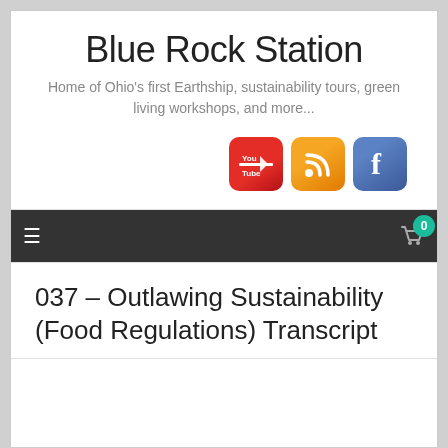Blue Rock Station
Home of Ohio's first Earthship, sustainability tours, green living workshops, and more...
[Figure (logo): Social media icons: YouTube (red), RSS (orange), Facebook (blue)]
037 – Outlawing Sustainability (Food Regulations) Transcript